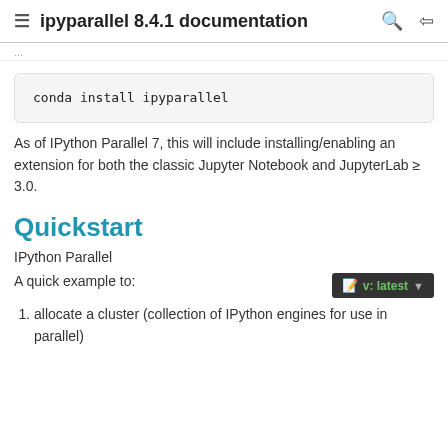ipyparallel 8.4.1 documentation
...
conda install ipyparallel
As of IPython Parallel 7, this will include installing/enabling an extension for both the classic Jupyter Notebook and JupyterLab ≥ 3.0.
Quickstart
IPython Parallel
A quick example to:
allocate a cluster (collection of IPython engines for use in parallel)